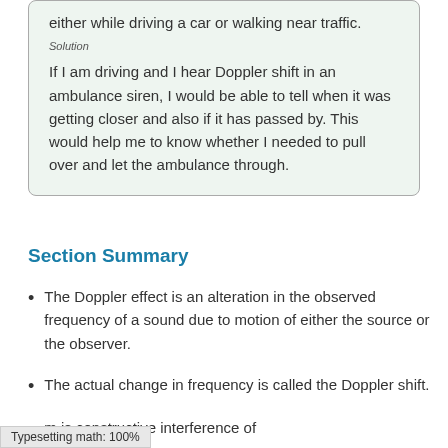either while driving a car or walking near traffic.
Solution
If I am driving and I hear Doppler shift in an ambulance siren, I would be able to tell when it was getting closer and also if it has passed by. This would help me to know whether I needed to pull over and let the ambulance through.
Section Summary
The Doppler effect is an alteration in the observed frequency of a sound due to motion of either the source or the observer.
The actual change in frequency is called the Doppler shift.
m is constructive interference of
Typesetting math: 100%